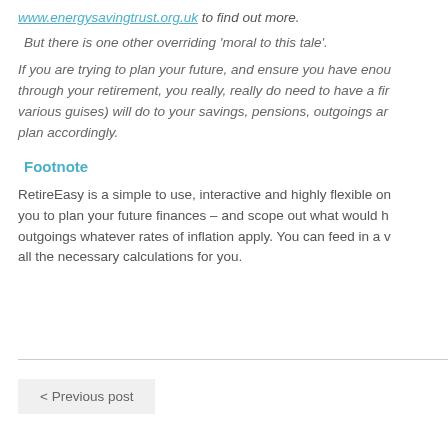www.energysavingtrust.org.uk to find out more.
But there is one other overriding 'moral to this tale'.
If you are trying to plan your future, and ensure you have enough to see you through your retirement, you really, really do need to have a firm grip on what inflation (in its various guises) will do to your savings, pensions, outgoings and income – and plan accordingly.
Footnote
RetireEasy is a simple to use, interactive and highly flexible online tool that allows you to plan your future finances – and scope out what would happen to your income and outgoings whatever rates of inflation apply. You can feed in a wide range of variables; it does all the necessary calculations for you.
< Previous post